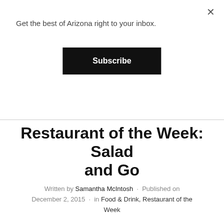Get the best of Arizona right to your inbox.
Subscribe
Restaurant of the Week: Salad and Go
Written by Samantha McIntosh · Published on December 2, 2015 · in Food & Drink, Restaurant of the Week
Salad and Go is a made-to-order, healthy fast food restaurant serving wraps, salads, super smoothies, kids items and more from (soon-to-be) 7, Valley-wide locations.